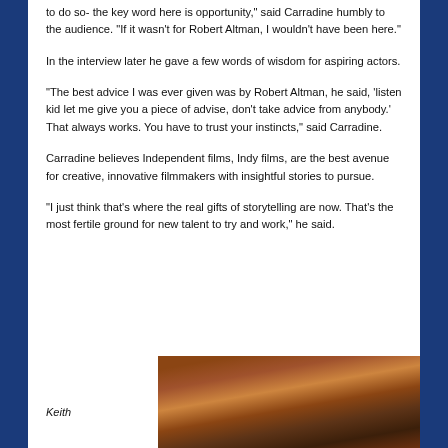to do so- the key word here is opportunity," said Carradine humbly to the audience. "If it wasn't for Robert Altman, I wouldn't have been here."
In the interview later he gave a few words of wisdom for aspiring actors.
"The best advice I was ever given was by Robert Altman, he said, 'listen kid let me give you a piece of advise, don't take advice from anybody.' That always works. You have to trust your instincts," said Carradine.
Carradine believes Independent films, Indy films, are the best avenue for creative, innovative filmmakers with insightful stories to pursue.
"I just think that's where the real gifts of storytelling are now. That's the most fertile ground for new talent to try and work," he said.
Keith
[Figure (photo): Photo of Keith Carradine, partially visible at bottom of page]